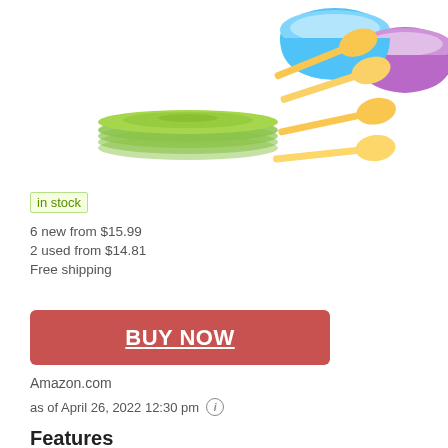[Figure (photo): Product image showing green plates, blue and purple bowls, and yellow spoons from a children's dinnerware set]
in stock
6 new from $15.99
2 used from $14.81
Free shipping
BUY NOW
Amazon.com
as of April 26, 2022 12:30 pm
Features